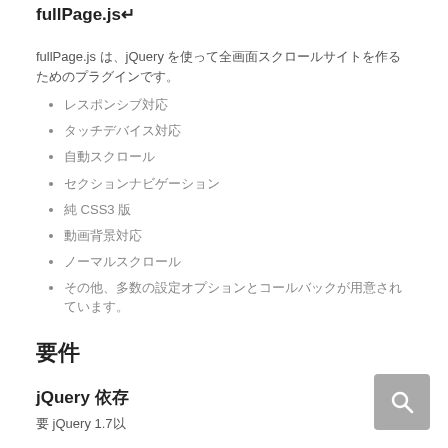fullPage.js↵
fullPage.js は、jQuery を使って全画面スクロールサイトを作るためのプラグインです。
レスポンシブ対応
タッチデバイス対応
自動スクロール
セクションナビゲーション
純 CSS3 版
動画背景対応
ノーマルスクロール
その他、多数の設定オプションとコールバックが用意されています。
要件
jQuery 依存
要 jQuery 1.7以